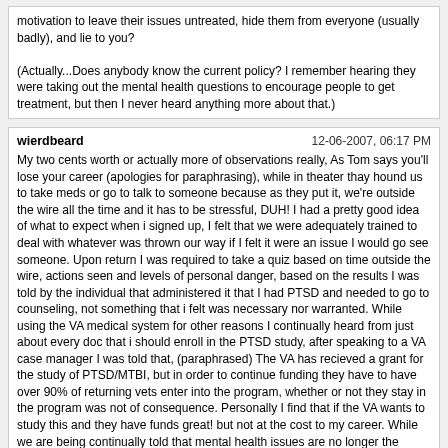motivation to leave their issues untreated, hide them from everyone (usually badly), and lie to you?

(Actually...Does anybody know the current policy? I remember hearing they were taking out the mental health questions to encourage people to get treatment, but then I never heard anything more about that.)
wierdbeard | 12-06-2007, 06:17 PM

My two cents worth or actually more of observations really, As Tom says you'll lose your career (apologies for paraphrasing), while in theater thay hound us to take meds or go to talk to someone because as they put it, we're outside the wire all the time and it has to be stressful, DUH! I had a pretty good idea of what to expect when i signed up, I felt that we were adequately trained to deal with whatever was thrown our way if I felt it were an issue I would go see someone. Upon return I was required to take a quiz based on time outside the wire, actions seen and levels of personal danger, based on the results I was told by the individual that administered it that I had PTSD and needed to go to counseling, not something that i felt was necessary nor warranted. While using the VA medical system for other reasons I continually heard from just about every doc that i should enroll in the PTSD study, after speaking to a VA case manager I was told that, (paraphrased) The VA has recieved a grant for the study of PTSD/MTBI, but in order to continue funding they have to have over 90% of returning vets enter into the program, whether or not they stay in the program was not of consequence. Personally I find that if the VA wants to study this and they have funds great! but not at the cost to my career. While we are being continually told that mental health issues are no longer the death knoll for Intel personnel, the reality is service members that do take part or admit to problems, find themselves in a not so favorable light. Regardless of what the rules say the mindset does not change overnight. Well i may have rambled on a bit there so I apologize now.
Powered by vBulletin® Version 4.2.5 Copyright © 2022 vBulletin Solutions Inc. All rights reserved.